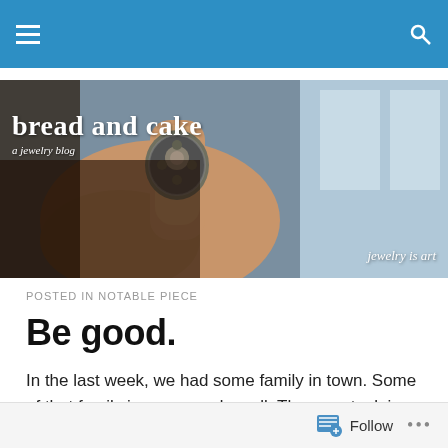Navigation bar with hamburger menu and search icon
[Figure (photo): Blog banner image showing a hand holding an ornate silver ring with the blog title 'bread and cake - a jewelry blog' and tagline 'jewelry is art']
POSTED IN NOTABLE PIECE
Be good.
In the last week, we had some family in town. Some of that family is young and small. Thus, we took in a lot of family friendly sights and activities. To is encourage close to
Follow ...